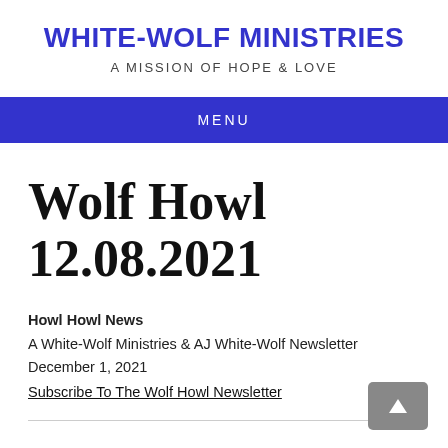WHITE-WOLF MINISTRIES
A MISSION OF HOPE & LOVE
MENU
Wolf Howl 12.08.2021
Howl Howl News
A White-Wolf Ministries & AJ White-Wolf Newsletter
December 1, 2021
Subscribe To The Wolf Howl Newsletter